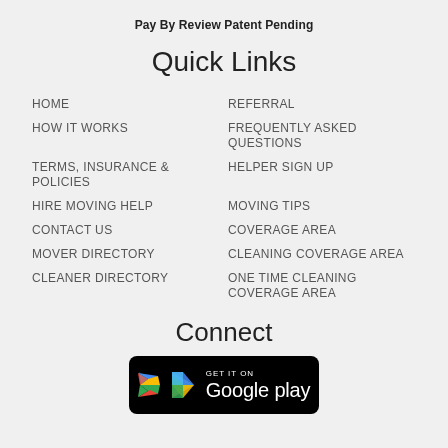Pay By Review Patent Pending
Quick Links
HOME
REFERRAL
HOW IT WORKS
FREQUENTLY ASKED QUESTIONS
TERMS, INSURANCE & POLICIES
HELPER SIGN UP
HIRE MOVING HELP
MOVING TIPS
CONTACT US
COVERAGE AREA
MOVER DIRECTORY
CLEANING COVERAGE AREA
CLEANER DIRECTORY
ONE TIME CLEANING COVERAGE AREA
Connect
[Figure (logo): Google Play badge: GET IT ON Google play, black rounded rectangle with Play Store triangle logo]